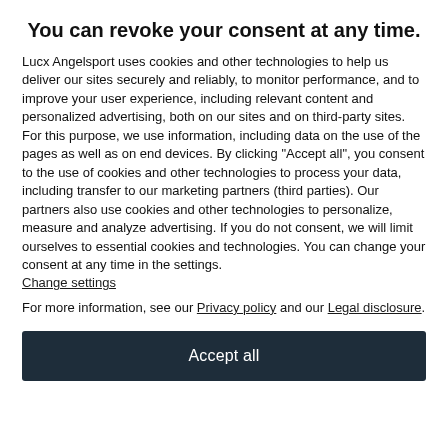You can revoke your consent at any time.
Lucx Angelsport uses cookies and other technologies to help us deliver our sites securely and reliably, to monitor performance, and to improve your user experience, including relevant content and personalized advertising, both on our sites and on third-party sites. For this purpose, we use information, including data on the use of the pages as well as on end devices. By clicking "Accept all", you consent to the use of cookies and other technologies to process your data, including transfer to our marketing partners (third parties). Our partners also use cookies and other technologies to personalize, measure and analyze advertising. If you do not consent, we will limit ourselves to essential cookies and technologies. You can change your consent at any time in the settings. Change settings
For more information, see our Privacy policy and our Legal disclosure.
Accept all